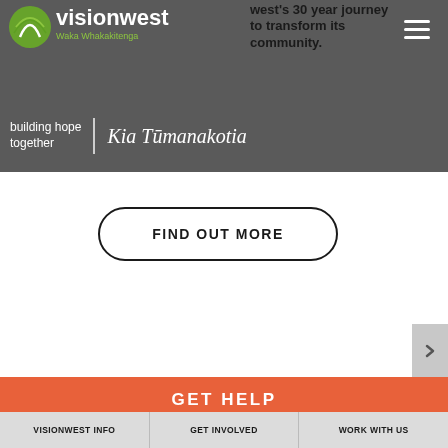visionwest | Waka Whakakitenga | building hope together | Kia Tūmanakotia
Visionwest's 30 year journey to transform its community.
FIND OUT MORE
GET HELP
VISIONWEST INFO
GET INVOLVED
WORK WITH US